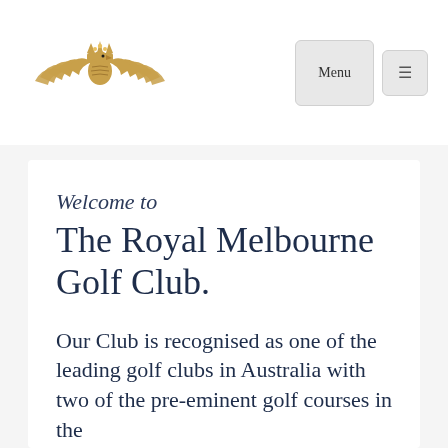[Figure (logo): Royal Melbourne Golf Club logo: a gold/bronze eagle with spread wings and a crown, used as the club emblem]
Menu
Welcome to The Royal Melbourne Golf Club.
Our Club is recognised as one of the leading golf clubs in Australia with two of the pre-eminent golf courses in the